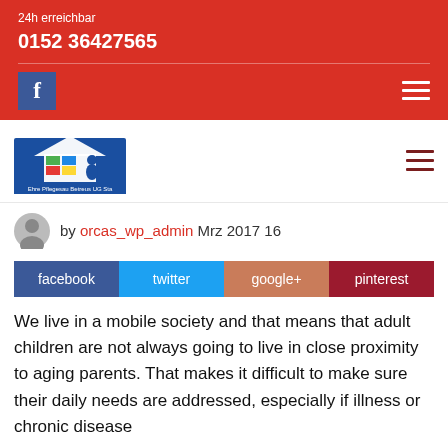24h erreichbar
0152 36427565
[Figure (logo): Facebook icon (white f on blue background) and hamburger menu (three white lines) on red bar]
[Figure (logo): Organization logo - blue house with figure, colored blocks, text Ehre Pflegesau Betreus UG Sta - and dark red hamburger menu]
by orcas_wp_admin Mrz 2017 16
[Figure (infographic): Social share buttons row: facebook (dark blue), twitter (light blue), google+ (orange-brown), pinterest (dark red)]
We live in a mobile society and that means that adult children are not always going to live in close proximity to aging parents. That makes it difficult to make sure their daily needs are addressed, especially if illness or chronic disease